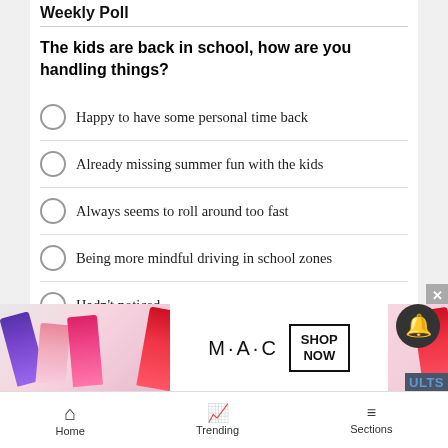Weekly Poll
The kids are back in school, how are you handling things?
Happy to have some personal time back
Already missing summer fun with the kids
Always seems to roll around too fast
Being more mindful driving in school zones
Hadn't noticed
[Figure (screenshot): Green VOTE button]
[Figure (photo): MAC cosmetics advertisement banner featuring lipsticks in purple, pink, hot pink, and red colors with MAC logo and SHOP NOW box]
Home  Trending  Sections